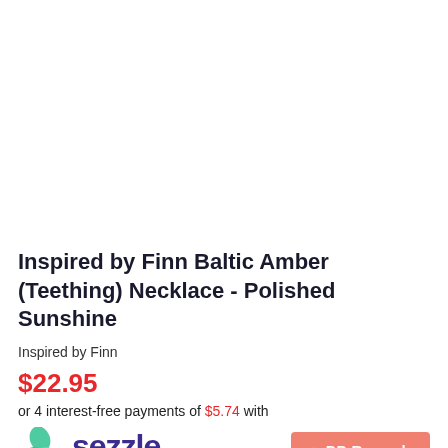[Figure (photo): Product image area - white/blank space for Baltic Amber Teething Necklace product photo]
Inspired by Finn Baltic Amber (Teething) Necklace - Polished Sunshine
Inspired by Finn
$22.95
or 4 interest-free payments of $5.74 with
[Figure (logo): Sezzle logo with colorful icon and dark purple text]
DD Rewards